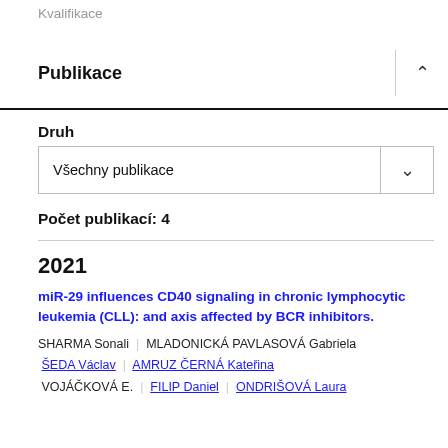Kvalifikace
Publikace
Druh
Všechny publikace
Počet publikací: 4
2021
miR-29 influences CD40 signaling in chronic lymphocytic leukemia (CLL): and axis affected by BCR inhibitors.
SHARMA Sonali  MLADONICKÁ PAVLASOVÁ Gabriela  ŠEDA Václav  AMRUZ ČERNÁ Kateřina  VOJÁČKOVÁ E.  FILIP Daniel  ONDRIŠOVÁ Laura